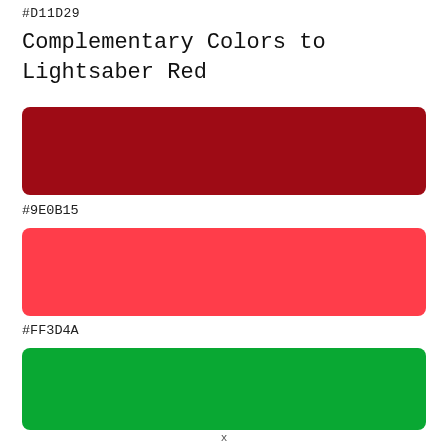#D11D29
Complementary Colors to Lightsaber Red
[Figure (other): Dark red color swatch, hex #9E0B15]
#9E0B15
[Figure (other): Coral/salmon red color swatch, hex #FF3D4A]
#FF3D4A
[Figure (other): Green color swatch, hex #09A833]
x